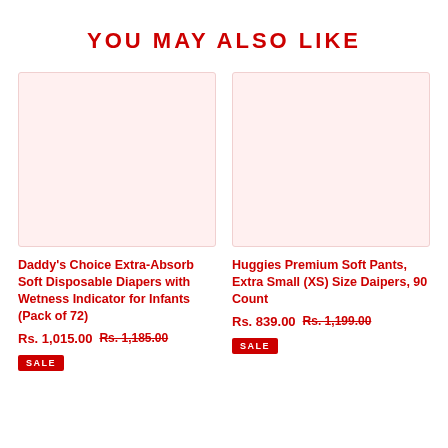YOU MAY ALSO LIKE
[Figure (photo): Product image placeholder for Daddy's Choice Extra-Absorb Soft Disposable Diapers, light pink background]
Daddy's Choice Extra-Absorb Soft Disposable Diapers with Wetness Indicator for Infants (Pack of 72)
Rs. 1,015.00 Rs. 1,185.00
[Figure (photo): Product image placeholder for Huggies Premium Soft Pants, light pink background]
Huggies Premium Soft Pants, Extra Small (XS) Size Daipers, 90 Count
Rs. 839.00 Rs. 1,199.00 SALE